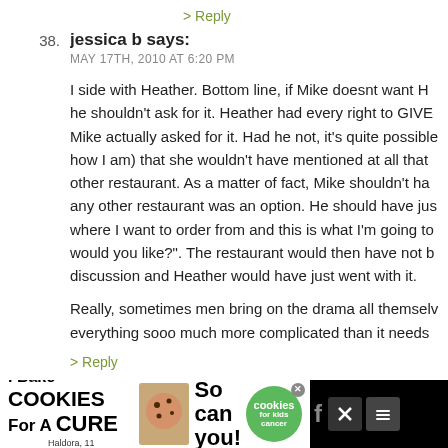Heather win's only cuz (because) she put in a super cute Annie!
> Reply
38. jessica b says:
MAY 17TH, 2010 AT 6:20 PM

I side with Heather. Bottom line, if Mike doesnt want H he shouldn't ask for it. Heather had every right to GIVE Mike actually asked for it. Had he not, it's quite possible how I am) that she wouldn't have mentioned at all that other restaurant. As a matter of fact, Mike shouldn't ha any other restaurant was an option. He should have jus where I want to order from and this is what I'm going to would you like?". The restaurant would then have not b discussion and Heather would have just went with it.

Really, sometimes men bring on the drama all themselv everything sooo much more complicated than it needs
> Reply
[Figure (other): Advertisement banner at bottom: 'I Bake COOKIES For A CURE' with green cookies badge and social media icons]